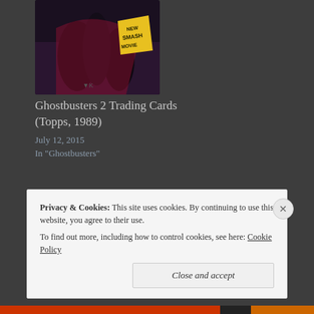[Figure (photo): Ghostbusters 2 trading card image with dark background and yellow 'New Smash Movie' badge]
Ghostbusters 2 Trading Cards (Topps, 1989)
July 12, 2015
In "Ghostbusters"
[Figure (other): Link thumbnail with chain link icon]
Privacy & Cookies:  This site uses cookies. By continuing to use this website, you agree to their use.
To find out more, including how to control cookies, see here: Cookie Policy
Close and accept